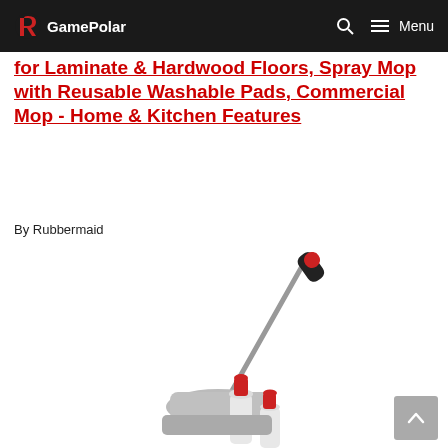GamePolar
for Laminate & Hardwood Floors, Spray Mop with Reusable Washable Pads, Commercial Mop - Home & Kitchen Features
By Rubbermaid
[Figure (photo): Product photo of a Rubbermaid spray mop with silver/stainless handle, black grip at top, and two small bottles with red caps at the base]